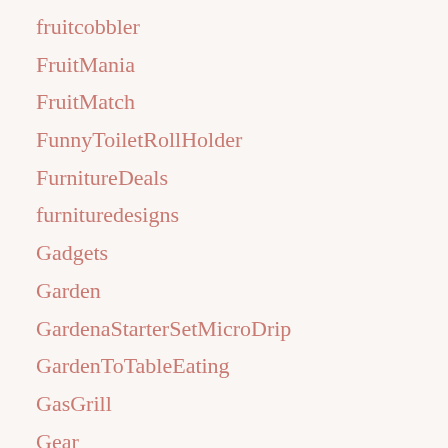fruitcobbler
FruitMania
FruitMatch
FunnyToiletRollHolder
FurnitureDeals
furnituredesigns
Gadgets
Garden
GardenaStarterSetMicroDrip
GardenToTableEating
GasGrill
Gear
GearGuides
Geitost
Geniff